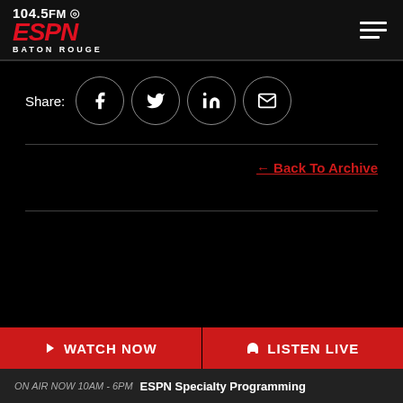104.5 FM ESPN BATON ROUGE
Share: [Facebook] [Twitter] [LinkedIn] [Email]
← Back To Archive
▶ WATCH NOW   🎧 LISTEN LIVE
ON AIR NOW 10AM - 6PM  ESPN Specialty Programming